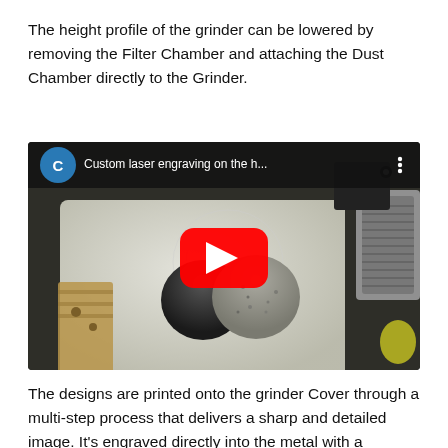The height profile of the grinder can be lowered by removing the Filter Chamber and attaching the Dust Chamber directly to the Grinder.
[Figure (screenshot): YouTube video thumbnail showing 'Custom laser engraving on the h...' with a channel icon labeled C, a red play button overlay, and a photo of laser engraving equipment with circular grinder parts on a white surface.]
The designs are printed onto the grinder Cover through a multi-step process that delivers a sharp and detailed image. It's engraved directly into the metal with a